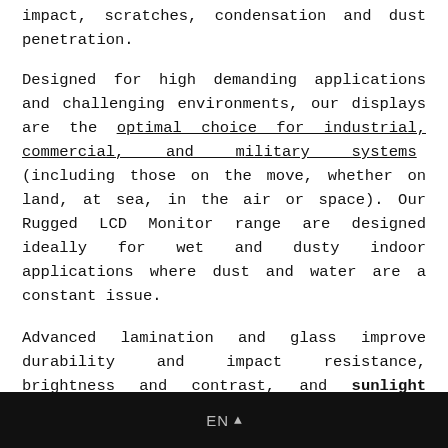impact, scratches, condensation and dust penetration.
Designed for high demanding applications and challenging environments, our displays are the optimal choice for industrial, commercial, and military systems (including those on the move, whether on land, at sea, in the air or space). Our Rugged LCD Monitor range are designed ideally for wet and dusty indoor applications where dust and water are a constant issue.
Advanced lamination and glass improve durability and impact resistance, brightness and contrast, and sunlight readability, while reducing reflection, condensation, and dust buildup.
Inelmatic a globally recognized rugged display
EN